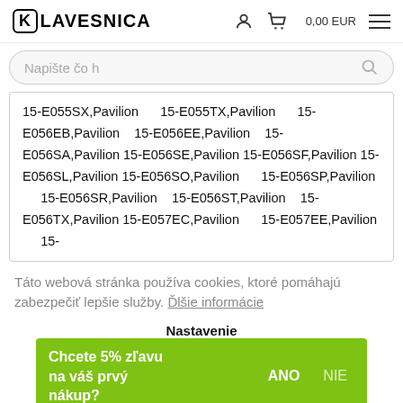KLAVESNICA — 0,00 EUR
Napište čo h
15-E055SX,Pavilion 15-E055TX,Pavilion 15-E056EB,Pavilion 15-E056EE,Pavilion 15-E056SA,Pavilion 15-E056SE,Pavilion 15-E056SF,Pavilion 15-E056SL,Pavilion 15-E056SO,Pavilion 15-E056SP,Pavilion 15-E056SR,Pavilion 15-E056ST,Pavilion 15-E056TX,Pavilion 15-E057EC,Pavilion 15-E057EE,Pavilion 15-
Táto webová stránka používa cookies, ktoré pomáhajú zabezpečiť lepšie služby. Ďlšie informácie
Nastavenie
Chcete 5% zľavu na váš prvý nákup?
ANO
NIE